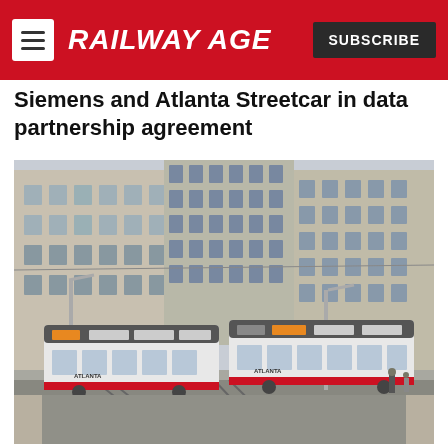RAILWAY AGE
Siemens and Atlanta Streetcar in data partnership agreement
[Figure (photo): Two modern white streetcars traveling along urban tracks through a downtown city street, with large multi-story stone and glass buildings on either side. The scene appears to be Atlanta's streetcar system.]